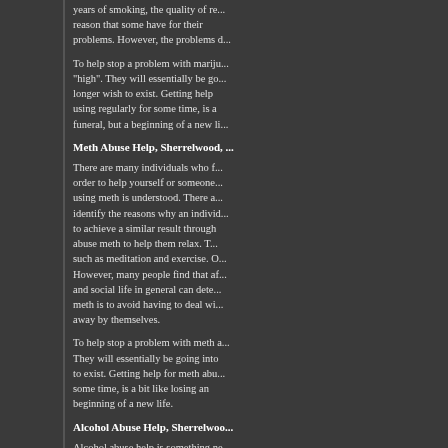years of smoking, the quality of re... reason that some have for their... problems. However, the problems d...
To help stop a problem with mariju... "high". They will essentially be go... longer wish to exist. Getting help... using regularly for some time, is a... funeral, but a beginning of a new li...
Meth Abuse Help, Sherrelwood, ...
There are many individuals who f... order to help yourself or someone... using meth is understood. There a... identify the reasons why an individ... to achieve a similar result through... abuse meth to help them relax. T... such as meditation and exercise. O... However, many people find that af... and social life in general can dete... meth is to avoid having to deal wi... away by themselves.
To help stop a problem with meth a... They will essentially be going into... to exist. Getting help for meth abu... some time, is a bit like losing an... beginning of a new life.
Alcohol Abuse Help, Sherrelwoo...
Alcohol abuse help is something ne... these people may not realize it or... alcohol abuse can develop into alc... period of weeks or over a period o... occasionally doesn't intend to go... process. There seems to be a line... Once an individual crosses t...